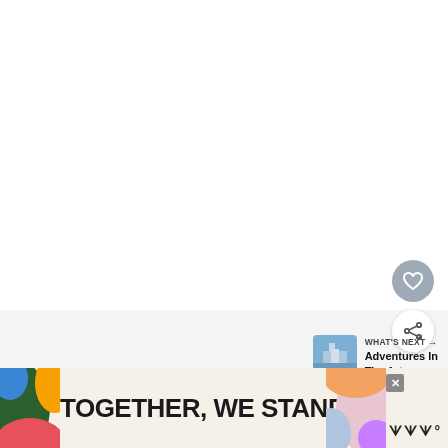[Figure (screenshot): Blank white area representing a video or image placeholder in a mobile app interface]
[Figure (illustration): Heart (like/favorite) button — circular grey button with white heart icon]
[Figure (illustration): Share button — circular white button with share/network icon and plus symbol]
[Figure (screenshot): WHAT'S NEXT panel with thumbnail photo of a building/arts venue and text 'Adventures In The Arts']
After unpacking, we had the day ahead of us and
[Figure (illustration): Advertisement banner reading 'TOGETHER, WE STAND' with colorful abstract shapes on both sides, a close X button, and a logo on the right]